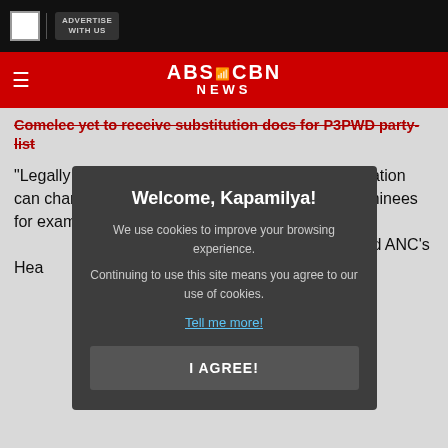ADVERTISE WITH US
ABS-CBN NEWS
Comelec yet to receive substitution docs for P3PWD party-list
"Legally there is a way in which a party-list organization can change their nominees and that is if all the nominees for example will withdraw or, well, will die and therefore the party-list will substitute all the nominees, Garcia told ANC's Hea
Welcome, Kapamilya!
We use cookies to improve your browsing experience.
Continuing to use this site means you agree to our use of cookies.
Tell me more!
I AGREE!